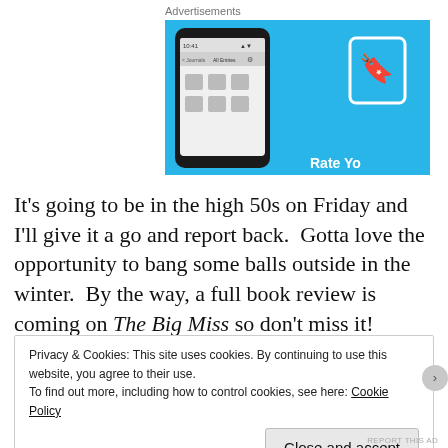Advertisements
[Figure (screenshot): An advertisement banner with a light blue background showing a smartphone mockup on the left displaying an app interface, and a book/reading app icon on the right.]
It's going to be in the high 50s on Friday and I'll give it a go and report back.  Gotta love the opportunity to bang some balls outside in the winter.  By the way, a full book review is coming on The Big Miss so don't miss it!
Privacy & Cookies: This site uses cookies. By continuing to use this website, you agree to their use.
To find out more, including how to control cookies, see here: Cookie Policy
Close and accept